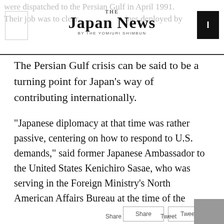THE JAPAN NEWS BY THE YOMIURI SHIMBUN
The Persian Gulf crisis can be said to be a turning point for Japan’s way of contributing internationally.
“Japanese diplomacy at that time was rather passive, centering on how to respond to U.S. demands,” said former Japanese Ambassador to the United States Kenichiro Sasae, who was serving in the Foreign Ministry’s North American Affairs Bureau at the time of the crisis. “[Japan’s] failure [in the Gulf crisis] became an opportunity for Japan to change its awareness to recognize that proactive use of the SDF is meaningful.”
Share   Tweet